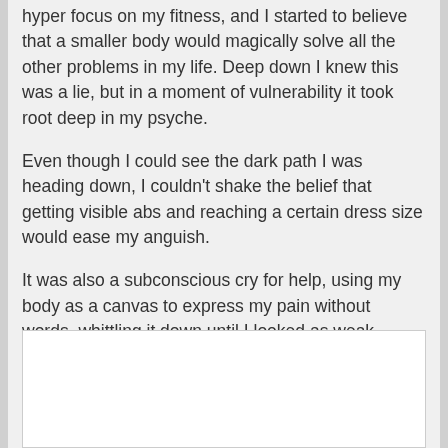hyper focus on my fitness, and I started to believe that a smaller body would magically solve all the other problems in my life. Deep down I knew this was a lie, but in a moment of vulnerability it took root deep in my psyche.
Even though I could see the dark path I was heading down, I couldn't shake the belief that getting visible abs and reaching a certain dress size would ease my anguish.
It was also a subconscious cry for help, using my body as a canvas to express my pain without words, whittling it down until I looked as weak, scared and fragile as I felt inside.
[Figure (other): White rectangular box, mostly empty, at the bottom of the page]